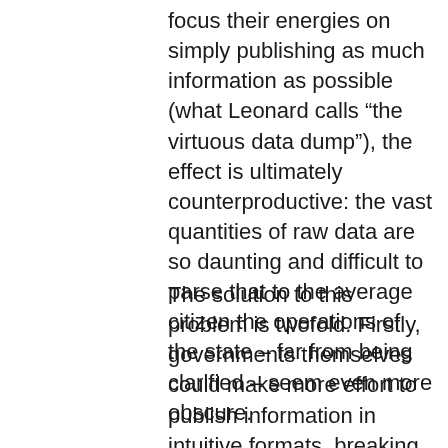focus their energies on simply publishing as much information as possible (what Leonard calls “the virtuous data dump”), the effect is ultimately counterproductive: the vast quantities of raw data are so daunting and difficult to parse that to the average citizen the operations of the state – far from being clarified – seem even more obscure.
The solution to this problem is twofold. Firstly, governments themselves could make more effort to publish information in intuitive formats, breaking data down by category or time period, ensuring that it is fully and effectively searchable by keyword, and publishing supplementary datasets to aid analysis. For example, in June 2010 the UK Treasury released several years’